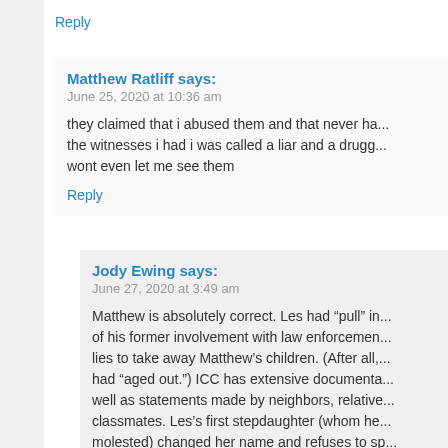Reply
Matthew Ratliff says:
June 25, 2020 at 10:36 am
they claimed that i abused them and that never ha... the witnesses i had i was called a liar and a drugg... wont even let me see them
Reply
Jody Ewing says:
June 27, 2020 at 3:49 am
Matthew is absolutely correct. Les had “pull” in... of his former involvement with law enforcemen... lies to take away Matthew’s children. (After all,... had “aged out.”) ICC has extensive documenta... well as statements made by neighbors, relative... classmates. Les’s first stepdaughter (whom he... molested) changed her name and refuses to sp... did to her. Les’s own children and stepchildren... with horror stories.

This is one of the top ICC cases where evidenc...